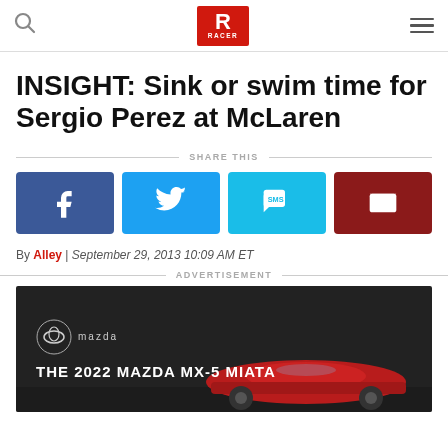RACER (logo header with search and menu icons)
INSIGHT: Sink or swim time for Sergio Perez at McLaren
SHARE THIS
[Figure (other): Social share buttons: Facebook, Twitter, SMS, Email]
By Alley | September 29, 2013 10:09 AM ET
ADVERTISEMENT
[Figure (photo): Advertisement for The 2022 Mazda MX-5 Miata showing red convertible car on dark background with Mazda logo]